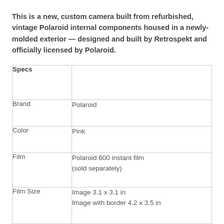This is a new, custom camera built from refurbished, vintage Polaroid internal components housed in a newly-molded exterior — designed and built by Retrospekt and officially licensed by Polaroid.
| Specs |  |
| --- | --- |
| Brand | Polaroid |
| Color | Pink |
| Film | Polaroid 600 instant film (sold separately) |
| Film Size | Image 3.1 x 3.1 in
Image with border 4.2 x 3.5 in |
| Lens | 110mm f/10 |